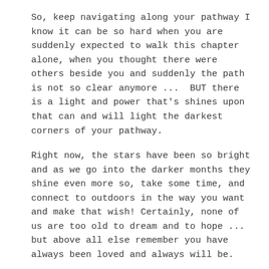So, keep navigating along your pathway I know it can be so hard when you are suddenly expected to walk this chapter alone, when you thought there were others beside you and suddenly the path is not so clear anymore ...  BUT there is a light and power that's shines upon that can and will light the darkest corners of your pathway.
Right now, the stars have been so bright and as we go into the darker months they shine even more so, take some time, and connect to outdoors in the way you want and make that wish! Certainly, none of us are too old to dream and to hope ... but above all else remember you have always been loved and always will be.